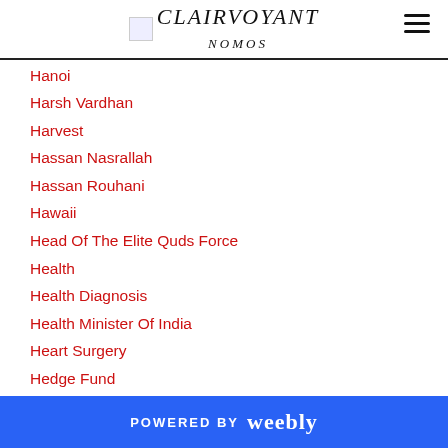CLAIRVOYANT NOMOS
Hanoi
Harsh Vardhan
Harvest
Hassan Nasrallah
Hassan Rouhani
Hawaii
Head Of The Elite Quds Force
Health
Health Diagnosis
Health Minister Of India
Heart Surgery
Hedge Fund
Hedge Fund Manager
Hedge Funds
POWERED BY weebly